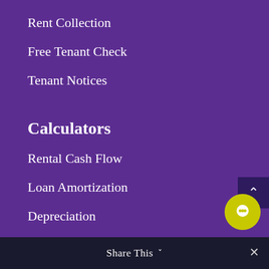Rent Collection
Free Tenant Check
Tenant Notices
Calculators
Rental Cash Flow
Loan Amortization
Depreciation
FIRE Calculator
House Hacking
Compound Returns
Prorated Rent
Share This